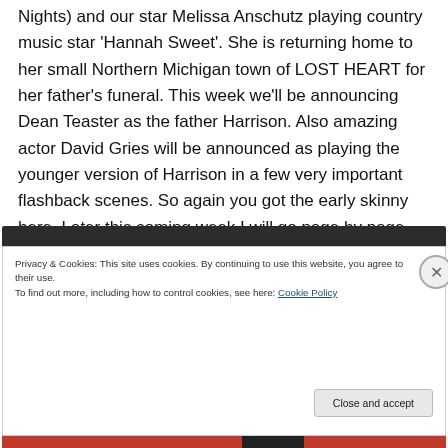Nights) and our star Melissa Anschutz playing country music star 'Hannah Sweet'. She is returning home to her small Northern Michigan town of LOST HEART for her father's funeral. This week we'll be announcing Dean Teaster as the father Harrison. Also amazing actor David Gries will be announced as playing the younger version of Harrison in a few very important flashback scenes. So again you got the early skinny here. Later this coming week I will go page by page with our director and lock up a shooting script.
Privacy & Cookies: This site uses cookies. By continuing to use this website, you agree to their use.
To find out more, including how to control cookies, see here: Cookie Policy